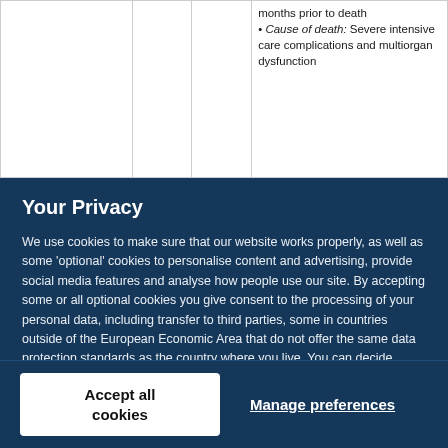|  |  |  | months prior to death
• Cause of death: Severe intensive care complications and multiorgan dysfunction |
Your Privacy
We use cookies to make sure that our website works properly, as well as some 'optional' cookies to personalise content and advertising, provide social media features and analyse how people use our site. By accepting some or all optional cookies you give consent to the processing of your personal data, including transfer to third parties, some in countries outside of the European Economic Area that do not offer the same data protection standards as the country where you live. You can decide which optional cookies to accept by clicking on 'Manage Settings', where you can also find more information about how your personal data is processed. Further information can be found in our privacy policy.
Accept all cookies
Manage preferences